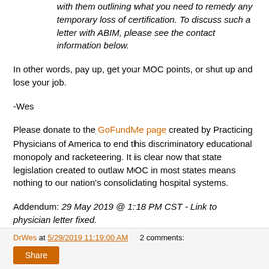with them outlining what you need to remedy any temporary loss of certification. To discuss such a letter with ABIM, please see the contact information below.
In other words, pay up, get your MOC points, or shut up and lose your job.
-Wes
Please donate to the GoFundMe page created by Practicing Physicians of America to end this discriminatory educational monopoly and racketeering. It is clear now that state legislation created to outlaw MOC in most states means nothing to our nation's consolidating hospital systems.
Addendum: 29 May 2019 @ 1:18 PM CST - Link to physician letter fixed.
DrWes at 5/29/2019 11:19:00 AM   2 comments: